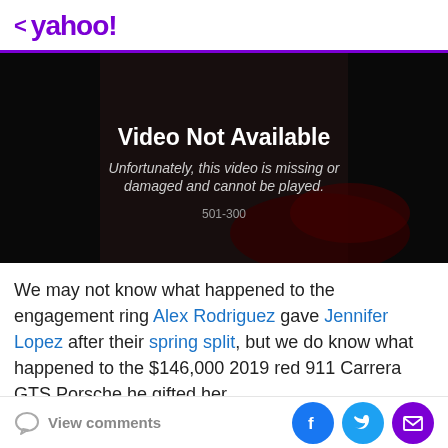< yahoo!
[Figure (screenshot): Video Not Available error screen with darkened background showing a person in a suit near a red car. Text reads: 'Video Not Available. Unfortunately, this video is missing or damaged and cannot be played. 501-300']
We may not know what happened to the engagement ring Alex Rodriguez gave Jennifer Lopez after their spring split, but we do know what happened to the $146,000 2019 red 911 Carrera GTS Porsche he gifted her
View comments | [Facebook] [Twitter] [Email]